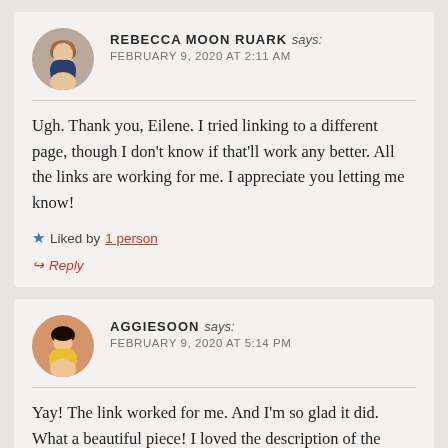REBECCA MOON RUARK says: FEBRUARY 9, 2020 AT 2:11 AM
Ugh. Thank you, Eilene. I tried linking to a different page, though I don't know if that'll work any better. All the links are working for me. I appreciate you letting me know!
★ Liked by 1 person
↪ Reply
AGGIESOON says: FEBRUARY 9, 2020 AT 5:14 PM
Yay! The link worked for me. And I'm so glad it did. What a beautiful piece! I loved the description of the